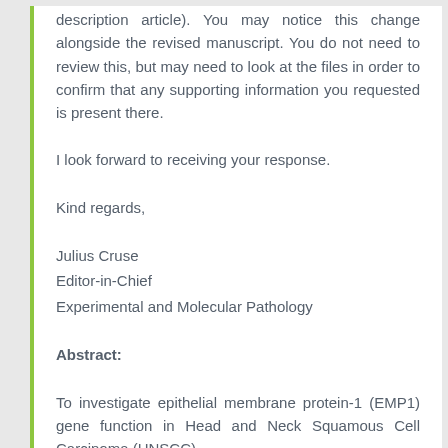description article). You may notice this change alongside the revised manuscript. You do not need to review this, but may need to look at the files in order to confirm that any supporting information you requested is present there.
I look forward to receiving your response.
Kind regards,
Julius Cruse
Editor-in-Chief
Experimental and Molecular Pathology
Abstract:
To investigate epithelial membrane protein-1 (EMP1) gene function in Head and Neck Squamous Cell Carcinoma (HNSCC)